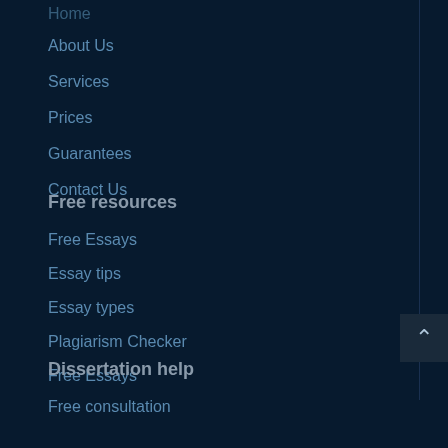Home
About Us
Services
Prices
Guarantees
Contact Us
Free resources
Free Essays
Essay tips
Essay types
Plagiarism Checker
Free Essays
Dissertation help
Free consultation